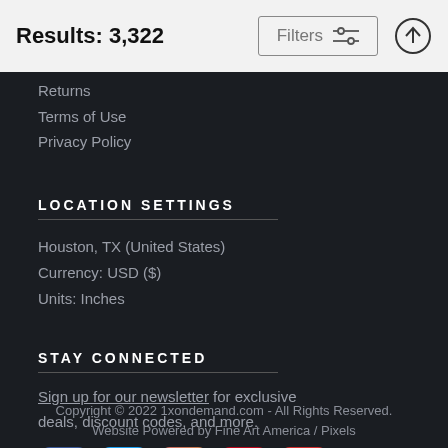Results: 3,322
Filters
Returns
Terms of Use
Privacy Policy
LOCATION SETTINGS
Houston, TX (United States)
Currency: USD ($)
Units: Inches
STAY CONNECTED
Sign up for our newsletter for exclusive deals, discount codes, and more.
[Figure (logo): Social media icons: Facebook, Twitter, Instagram, Pinterest, YouTube]
Copyright © 2022 1xondemand.com - All Rights Reserved. Website Powered by Fine Art America / Pixels